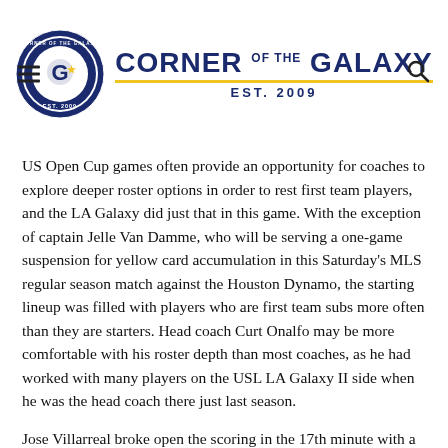Corner of the Galaxy EST. 2009
US Open Cup games often provide an opportunity for coaches to explore deeper roster options in order to rest first team players, and the LA Galaxy did just that in this game. With the exception of captain Jelle Van Damme, who will be serving a one-game suspension for yellow card accumulation in this Saturday's MLS regular season match against the Houston Dynamo, the starting lineup was filled with players who are first team subs more often than they are starters. Head coach Curt Onalfo may be more comfortable with his roster depth than most coaches, as he had worked with many players on the USL LA Galaxy II side when he was the head coach there just last season.
Jose Villarreal broke open the scoring in the 17th minute with a powerful strike from about 40 yards out, but Orange County